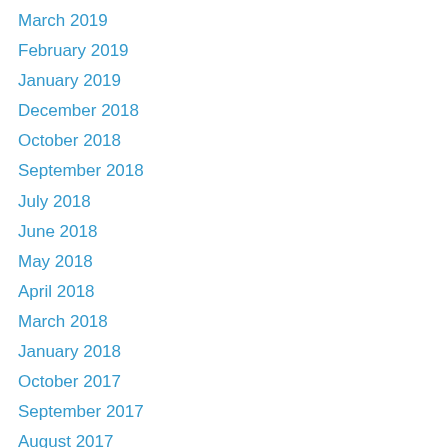March 2019
February 2019
January 2019
December 2018
October 2018
September 2018
July 2018
June 2018
May 2018
April 2018
March 2018
January 2018
October 2017
September 2017
August 2017
July 2017
June 2017
May 2017
April 2017
December 2016